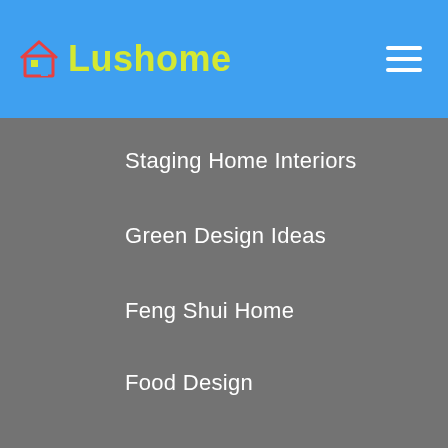Lushome
Staging Home Interiors
Green Design Ideas
Feng Shui Home
Food Design
Money Saving Tips
Pet Design
Clutter T…